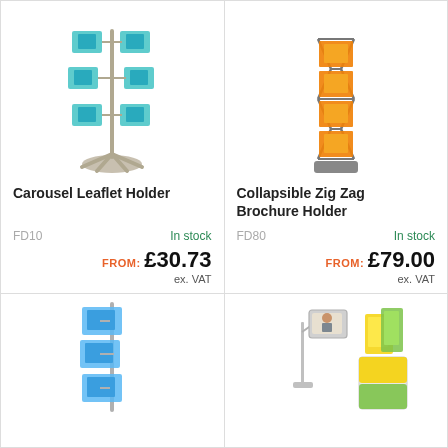[Figure (illustration): Carousel Leaflet Holder - a rotating floor stand with multiple arms holding teal/blue leaflets, on a star-shaped base]
Carousel Leaflet Holder
FD10    In stock
FROM: £30.73
ex. VAT
[Figure (illustration): Collapsible Zig Zag Brochure Holder - a zigzag floor stand with orange/yellow brochures, dark metal frame on square base]
Collapsible Zig Zag Brochure Holder
FD80    In stock
FROM: £79.00
ex. VAT
[Figure (illustration): Floor leaflet stand with blue brochures in cascading pockets (partially visible, bottom half of page)]
[Figure (illustration): Silver poster stand with angled holder plus a separate yellow/green display unit (partially visible, bottom half of page)]